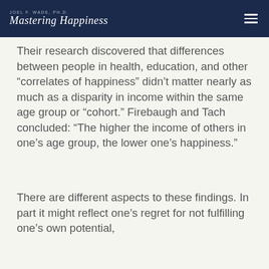JOEL F. WADE, PH.D. Mastering Happiness
Their research discovered that differences between people in health, education, and other “correlates of happiness” didn’t matter nearly as much as a disparity in income within the same age group or “cohort.” Firebaugh and Tach concluded: “The higher the income of others in one’s age group, the lower one’s happiness.”
There are different aspects to these findings. In part it might reflect one’s regret for not fulfilling one’s own potential,